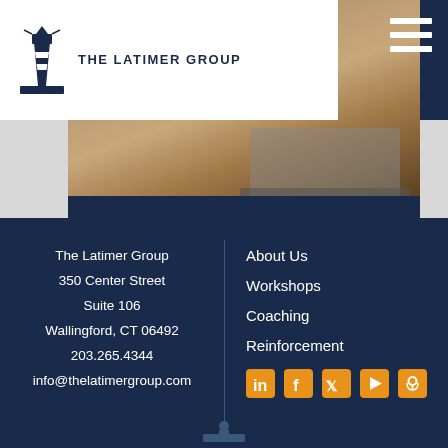[Figure (logo): The Latimer Group lighthouse logo with text]
[Figure (photo): Photo of a laptop on a desk, partially visible]
Dear Latimer: Prepping for a Good Vacation
The Latimer Group
350 Center Street
Suite 106
Wallingford, CT 06492
203.265.4344
info@thelatimergroup.com
About Us
Workshops
Coaching
Reinforcement
[Figure (illustration): Social media icons: LinkedIn, Facebook, Twitter, YouTube, Podcast]
[Figure (illustration): Lighthouse icon at bottom center]